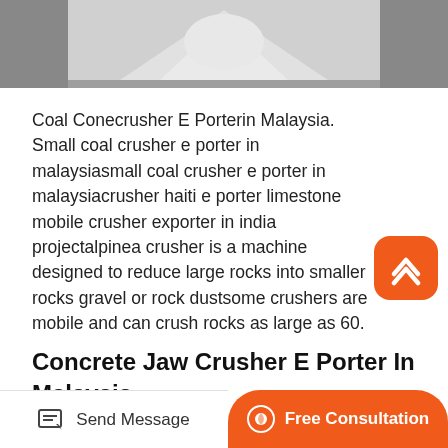[Figure (photo): Partial photo of a white cone crusher or mechanical part on a dark background, cropped at top of page]
Coal Conecrusher E Porterin Malaysia. Small coal crusher e porter in malaysiasmall coal crusher e porter in malaysiacrusher haiti e porter limestone mobile crusher exporter in india projectalpinea crusher is a machine designed to reduce large rocks into smaller rocks gravel or rock dustsome crushers are mobile and can crush rocks as large as 60.
Concrete Jaw Crusher E Porter In Malaysia
Kaolin por le crusher e porter in indonessia line
Send Message   Free Consultation